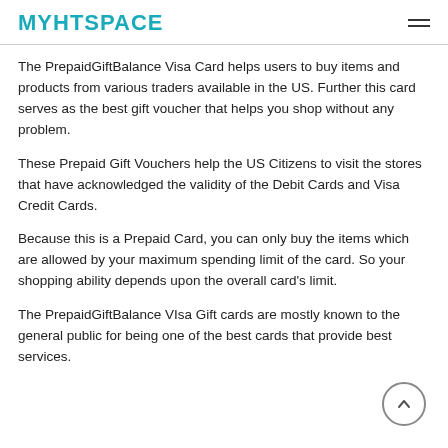MYHTSPACE
The PrepaidGiftBalance Visa Card helps users to buy items and products from various traders available in the US. Further this card serves as the best gift voucher that helps you shop without any problem.
These Prepaid Gift Vouchers help the US Citizens to visit the stores that have acknowledged the validity of the Debit Cards and Visa Credit Cards.
Because this is a Prepaid Card, you can only buy the items which are allowed by your maximum spending limit of the card. So your shopping ability depends upon the overall card's limit.
The PrepaidGiftBalance VIsa Gift cards are mostly known to the general public for being one of the best cards that provide best services.